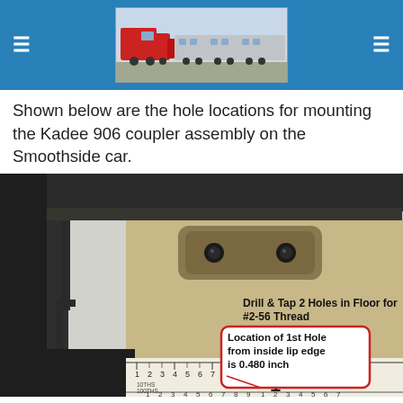Navigation header with train image
Shown below are the hole locations for mounting the Kadee 906 coupler assembly on the Smoothside car.
[Figure (photo): Close-up photo of Kadee 906 coupler assembly mounted on Smoothside car floor, showing two drilled and tapped #2-56 thread holes. Annotations read: 'Drill & Tap 2 Holes in Floor for #2-56 Thread' and 'Location of 1st Hole from inside lip edge is 0.480 inch'. A ruler is visible at the bottom of the image.]